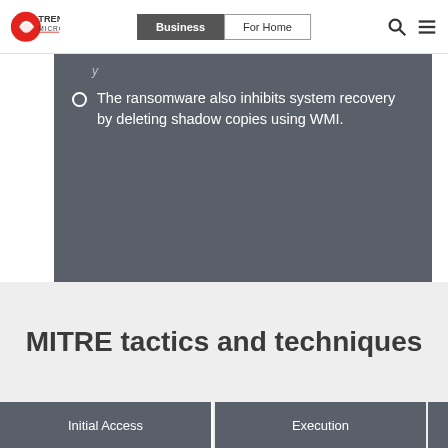Trend Micro | Business | For Home
The ransomware also inhibits system recovery by deleting shadow copies using WMI.
MITRE tactics and techniques
| Initial Access | Execution |
| --- | --- |